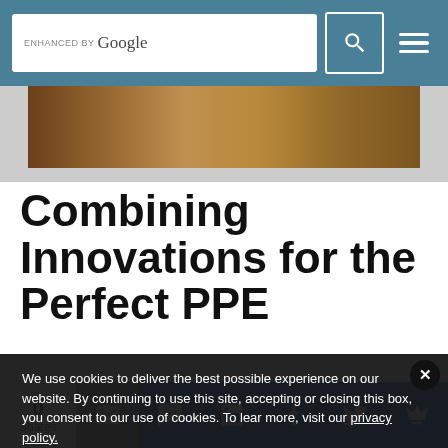ENHANCED BY Google [search bar with search icon and menu icon]
[Figure (photo): Partial photo showing wooden surface with human hands, warm brown tones]
Combining Innovations for the Perfect PPE
We use cookies to deliver the best possible experience on our website. By continuing to use this site, accepting or closing this box, you consent to our use of cookies. To learn more, visit our privacy policy.
Accept All
and uncomfortable, with little dexterity or movement. They
0 Shares [email] [SMS] [LinkedIn] [Facebook] [Twitter] [crown]